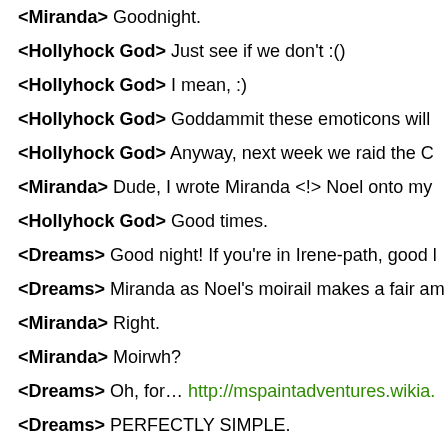<Miranda> Goodnight.
<Hollyhock God> Just see if we don't :()
<Hollyhock God> I mean, :)
<Hollyhock God> Goddammit these emoticons will
<Hollyhock God> Anyway, next week we raid the C
<Miranda> Dude, I wrote Miranda <!> Noel onto my
<Hollyhock God> Good times.
<Dreams> Good night! If you're in Irene-path, good l
<Dreams> Miranda as Noel's moirail makes a fair am
<Miranda> Right.
<Miranda> Moirwh?
<Dreams> Oh, for… http://mspaintadventures.wikia.
<Dreams> PERFECTLY SIMPLE.